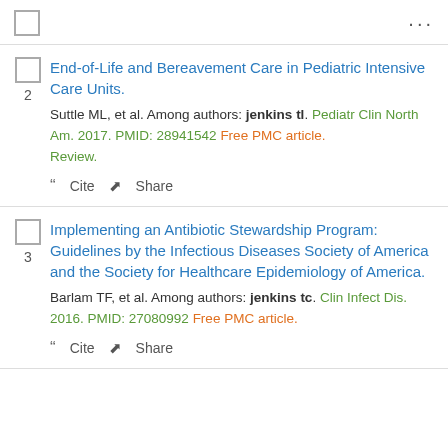...
2. End-of-Life and Bereavement Care in Pediatric Intensive Care Units. Suttle ML, et al. Among authors: jenkins tl. Pediatr Clin North Am. 2017. PMID: 28941542 Free PMC article. Review.
3. Implementing an Antibiotic Stewardship Program: Guidelines by the Infectious Diseases Society of America and the Society for Healthcare Epidemiology of America. Barlam TF, et al. Among authors: jenkins tc. Clin Infect Dis. 2016. PMID: 27080992 Free PMC article.